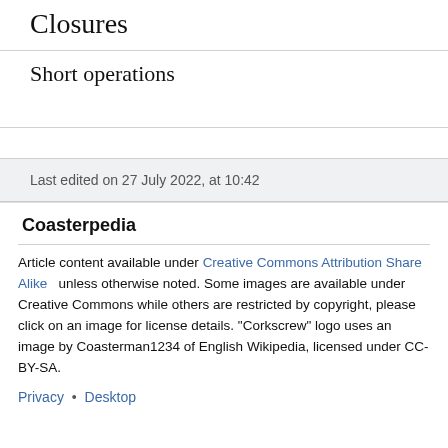Closures
Short operations
Last edited on 27 July 2022, at 10:42
Coasterpedia
Article content available under Creative Commons Attribution Share Alike unless otherwise noted. Some images are available under Creative Commons while others are restricted by copyright, please click on an image for license details. "Corkscrew" logo uses an image by Coasterman1234 of English Wikipedia, licensed under CC-BY-SA.
Privacy • Desktop